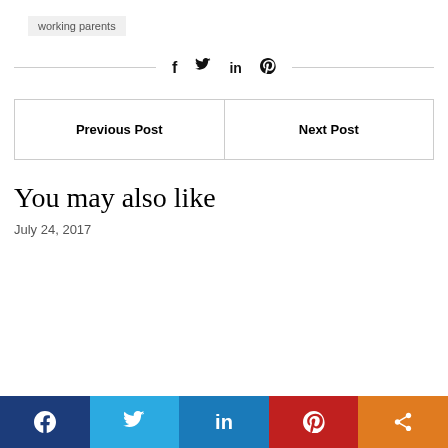working parents
f  y  in  (pinterest icon)
| Previous Post | Next Post |
| --- | --- |
You may also like
July 24, 2017
f  (twitter)  in  (pinterest)  (share)